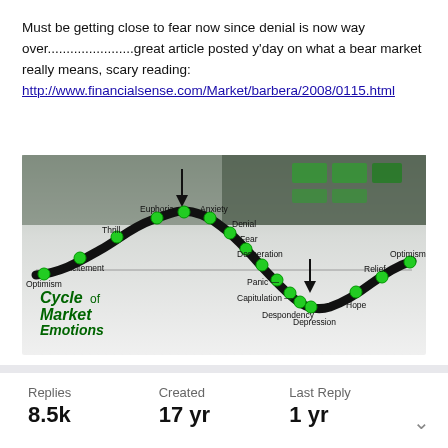Must be getting close to fear now since denial is now way over.......................great article posted y'day on what a bear market really means, scary reading: http://www.financialsense.com/Market/barbera/2008/0115.html
[Figure (infographic): Cycle of Market Emotions diagram showing a sinusoidal curve with labeled emotional stages: Optimism, Excitement, Thrill, Euphoria, Anxiety, Denial, Fear, Desperation, Panic, Capitulation, Despondency, Depression, Hope, Relief, Optimism. Green dots mark each stage on the black curve. Background shows a blurred stock market screen.]
| Replies | Created | Last Reply |
| --- | --- | --- |
| 8.5k | 17 yr | 1 yr |